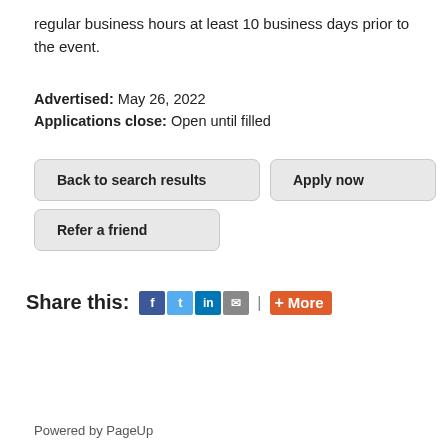regular business hours at least 10 business days prior to the event.
Advertised: May 26, 2022
Applications close: Open until filled
Back to search results
Apply now
Refer a friend
Share this: | More
Powered by PageUp